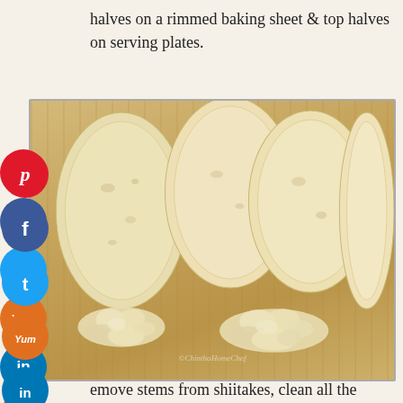halves on a rimmed baking sheet & top halves on serving plates.
[Figure (photo): Four hollowed-out sub roll halves arranged on a wooden cutting board, cut side up, with two piles of scooped-out bread crumbs in the foreground. Social media sharing icons (Pinterest, Facebook, Twitter, Yummly, LinkedIn, Reddit, WhatsApp) overlay the left side of the image.]
emove stems from shiitakes, clean all the